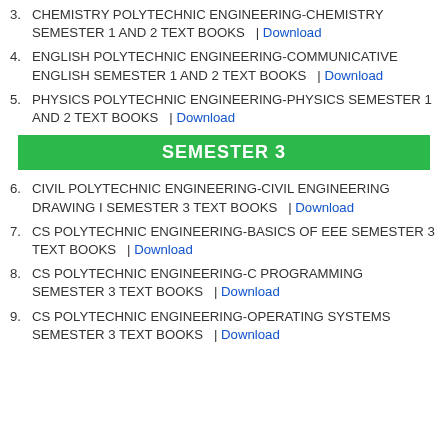3. CHEMISTRY POLYTECHNIC ENGINEERING-CHEMISTRY SEMESTER 1 AND 2 TEXT BOOKS | Download
4. ENGLISH POLYTECHNIC ENGINEERING-COMMUNICATIVE ENGLISH SEMESTER 1 AND 2 TEXT BOOKS | Download
5. PHYSICS POLYTECHNIC ENGINEERING-PHYSICS SEMESTER 1 AND 2 TEXT BOOKS | Download
SEMESTER 3
6. CIVIL POLYTECHNIC ENGINEERING-CIVIL ENGINEERING DRAWING I SEMESTER 3 TEXT BOOKS | Download
7. CS POLYTECHNIC ENGINEERING-BASICS OF EEE SEMESTER 3 TEXT BOOKS | Download
8. CS POLYTECHNIC ENGINEERING-C PROGRAMMING SEMESTER 3 TEXT BOOKS | Download
9. CS POLYTECHNIC ENGINEERING-OPERATING SYSTEMS SEMESTER 3 TEXT BOOKS | Download